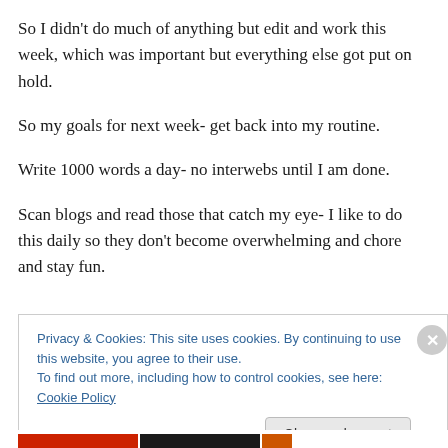So I didn't do much of anything but edit and work this week, which was important but everything else got put on hold.
So my goals for next week- get back into my routine.
Write 1000 words a day- no interwebs until I am done.
Scan blogs and read those that catch my eye- I like to do this daily so they don't become overwhelming and chore and stay fun.
Privacy & Cookies: This site uses cookies. By continuing to use this website, you agree to their use.
To find out more, including how to control cookies, see here: Cookie Policy
Close and accept